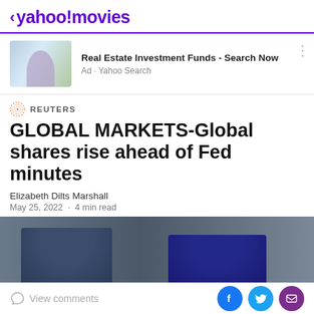< yahoo!movies
[Figure (photo): Ad banner with photo of people and text: Real Estate Investment Funds - Search Now, Ad · Yahoo Search]
Real Estate Investment Funds - Search Now
Ad · Yahoo Search
REUTERS
GLOBAL MARKETS-Global shares rise ahead of Fed minutes
Elizabeth Dilts Marshall
May 25, 2022  ·  4 min read
[Figure (photo): Partial photo of two people in a TV news or market setting with dark background]
View comments